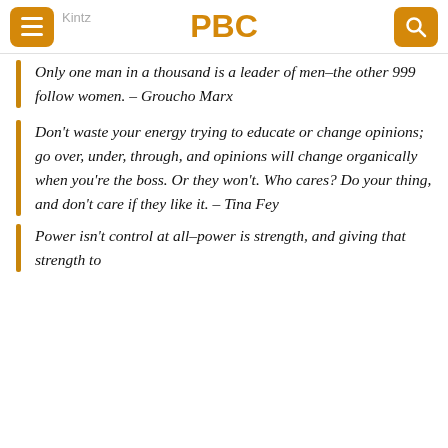PBC
Only one man in a thousand is a leader of men–the other 999 follow women. – Groucho Marx
Don't waste your energy trying to educate or change opinions; go over, under, through, and opinions will change organically when you're the boss. Or they won't. Who cares? Do your thing, and don't care if they like it. – Tina Fey
Power isn't control at all–power is strength, and giving that strength to